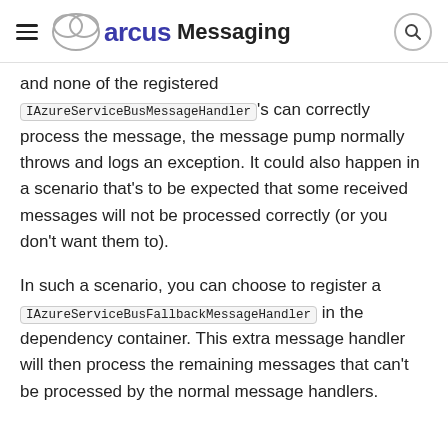arcus Messaging
and none of the registered IAzureServiceBusMessageHandler's can correctly process the message, the message pump normally throws and logs an exception. It could also happen in a scenario that's to be expected that some received messages will not be processed correctly (or you don't want them to).
In such a scenario, you can choose to register a IAzureServiceBusFallbackMessageHandler in the dependency container. This extra message handler will then process the remaining messages that can't be processed by the normal message handlers.